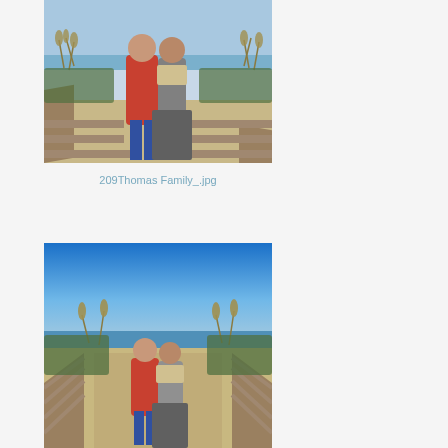[Figure (photo): Couple standing on a beach boardwalk, man in red shirt and woman in patterned scarf and long skirt, sea oats and ocean in background, close-up shot]
209Thomas Family_.jpg
[Figure (photo): Same couple standing on a beach boardwalk, wider shot showing more of the beach boardwalk leading to the ocean, blue sky, sea oats on sides, man in red shirt and woman in patterned scarf and long skirt]